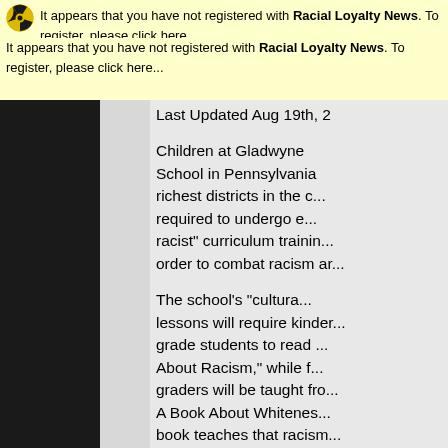[Figure (logo): Radioactive hazard symbol icon (yellow and black)]
It appears that you have not registered with Racial Loyalty News. To register, please click here...
Last Updated Aug 19th, 2...
Children at Gladwyne School in Pennsylvania richest districts in the c... required to undergo e... racist" curriculum trainin... order to combat racism ar...
The school's "cultura... lessons will require kinder... grade students to read ... About Racism," while f... graders will be taught fro... A Book About Whitenes... book teaches that racism... people sympathizing with ...
While the school had alre... four new cultural profic...